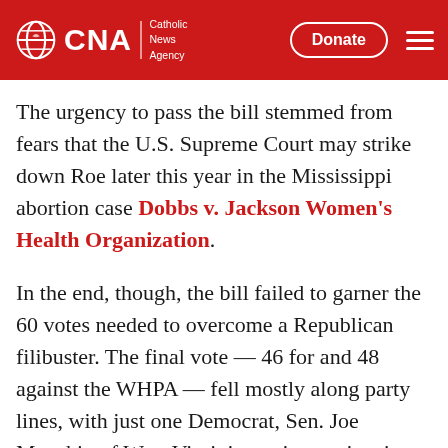CNA | Catholic News Agency — Donate
The urgency to pass the bill stemmed from fears that the U.S. Supreme Court may strike down Roe later this year in the Mississippi abortion case Dobbs v. Jackson Women's Health Organization.
In the end, though, the bill failed to garner the 60 votes needed to overcome a Republican filibuster. The final vote — 46 for and 48 against the WHPA — fell mostly along party lines, with just one Democrat, Sen. Joe Manchin of West Virginia, voting against it.
In a Feb. 28 press release, Archbishop William E.